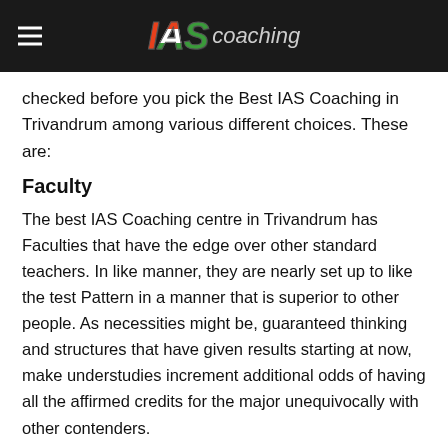IAS coaching
checked before you pick the Best IAS Coaching in Trivandrum among various different choices. These are:
Faculty
The best IAS Coaching centre in Trivandrum has Faculties that have the edge over other standard teachers. In like manner, they are nearly set up to like the test Pattern in a manner that is superior to other people. As necessities might be, guaranteed thinking and structures that have given results starting at now, make understudies increment additional odds of having all the affirmed credits for the major unequivocally with other contenders.
In case you pick an IAS coaching centre in Trivandrum